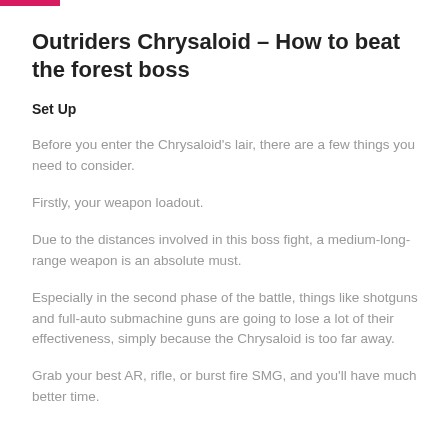Outriders Chrysaloid – How to beat the forest boss
Set Up
Before you enter the Chrysaloid's lair, there are a few things you need to consider.
Firstly, your weapon loadout.
Due to the distances involved in this boss fight, a medium-long-range weapon is an absolute must.
Especially in the second phase of the battle, things like shotguns and full-auto submachine guns are going to lose a lot of their effectiveness, simply because the Chrysaloid is too far away.
Grab your best AR, rifle, or burst fire SMG, and you'll have much better time.